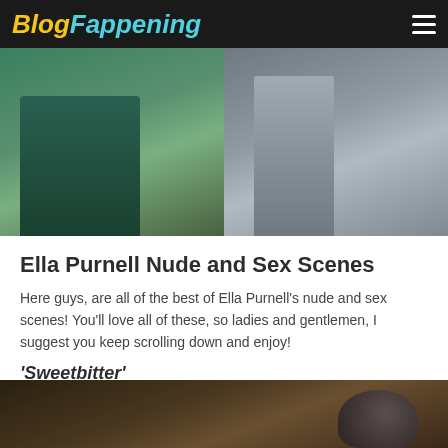BlogFappening
[Figure (photo): Two cropped photos side by side showing partial views of a person]
Ella Purnell Nude and Sex Scenes
Here guys, are all of the best of Ella Purnell's nude and sex scenes! You'll love all of these, so ladies and gentlemen, I suggest you keep scrolling down and enjoy!
‘Sweetbitter’
The first couple of scenes are from the ‘Sweetbitter’ TV series. Ella Purnell kisses a man and has him unbutton her top to expose her bra. The guy then goes lower and cuts her panties, exposing part of her bare ass while he gives her oral sex as she stands in a kitchen.
[Figure (photo): Dark scene from Sweetbitter TV series]